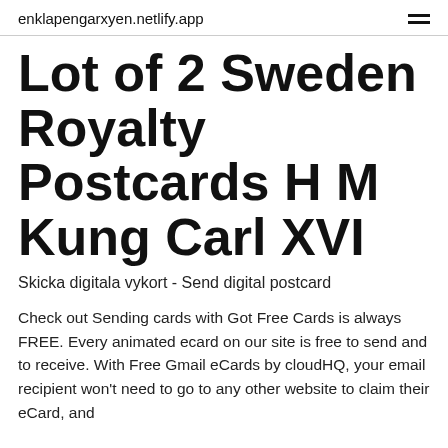enklapengarxyen.netlify.app
Lot of 2 Sweden Royalty Postcards H M Kung Carl XVI
Skicka digitala vykort - Send digital postcard
Check out Sending cards with Got Free Cards is always FREE. Every animated ecard on our site is free to send and to receive. With Free Gmail eCards by cloudHQ, your email recipient won't need to go to any other website to claim their eCard, and